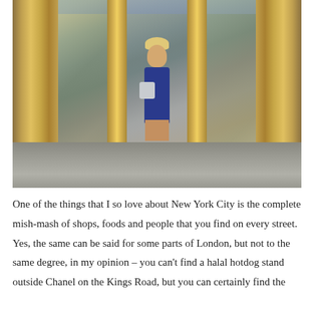[Figure (photo): A blonde woman in a blue strapless romper and sandals, holding a light blue bag, standing in front of a gold revolving door entrance to an upscale building or store, likely in New York City.]
One of the things that I so love about New York City is the complete mish-mash of shops, foods and people that you find on every street. Yes, the same can be said for some parts of London, but not to the same degree, in my opinion – you can't find a halal hotdog stand outside Chanel on the Kings Road, but you can certainly find the